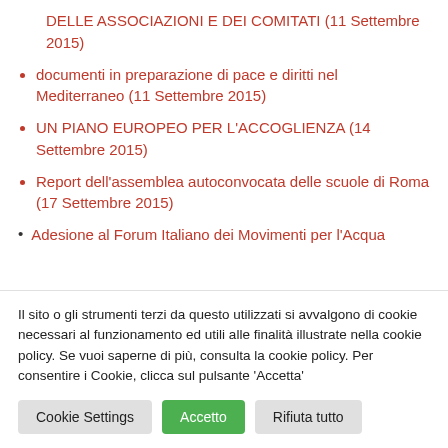DELLE ASSOCIAZIONI E DEI COMITATI (11 Settembre 2015)
documenti in preparazione di pace e diritti nel Mediterraneo (11 Settembre 2015)
UN PIANO EUROPEO PER L'ACCOGLIENZA (14 Settembre 2015)
Report dell'assemblea autoconvocata delle scuole di Roma (17 Settembre 2015)
Adesione al Forum Italiano dei Movimenti per l'Acqua
Il sito o gli strumenti terzi da questo utilizzati si avvalgono di cookie necessari al funzionamento ed utili alle finalità illustrate nella cookie policy. Se vuoi saperne di più, consulta la cookie policy. Per consentire i Cookie, clicca sul pulsante 'Accetta'